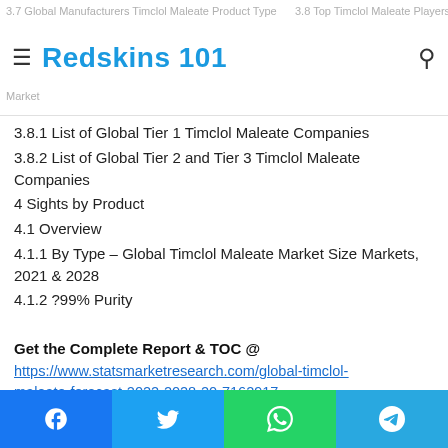Redskins 101
3.8.1 List of Global Tier 1 Timclol Maleate Companies
3.8.2 List of Global Tier 2 and Tier 3 Timclol Maleate Companies
4 Sights by Product
4.1 Overview
4.1.1 By Type – Global Timclol Maleate Market Size Markets, 2021 & 2028
4.1.2 ?99% Purity
Get the Complete Report & TOC @
https://www.statsmarketresearch.com/global-timclol-maleate-forecast-2022-2028-20-7162917